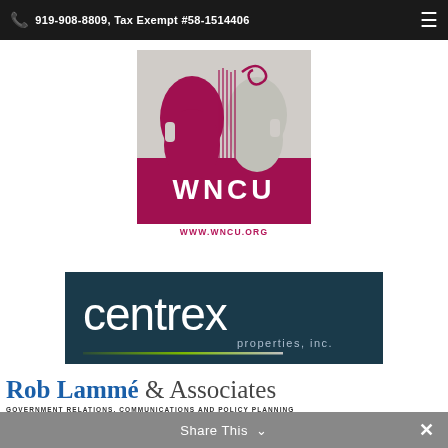919-908-8809, Tax Exempt #58-1514406
[Figure (logo): WNCU radio station logo — crimson/maroon cello silhouette on grey background with 'WNCU' text in crimson below, and 'WWW.WNCU.ORG' URL beneath]
[Figure (logo): Centrex Properties, Inc. logo — white 'centrex' text and 'properties, inc.' in grey on dark teal/navy background with gradient green-grey line accent]
[Figure (logo): Rob Lammé & Associates logo — 'Rob Lammé' in blue serif font, '& Associates' in grey serif font, with subtitle 'GOVERNMENT RELATIONS, COMMUNICATIONS AND POLICY PLANNING']
Share This ×